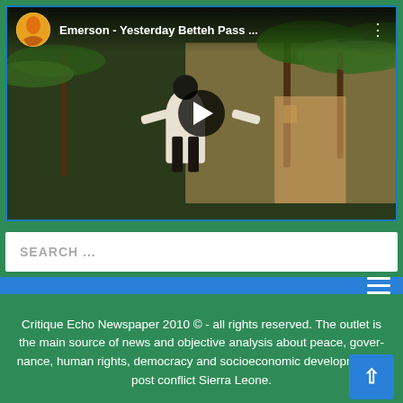[Figure (screenshot): YouTube video embed showing 'Emerson - Yesterday Betteh Pass ...' with a music video thumbnail featuring a man in a white suit with palm trees in the background, and a play button overlay.]
SEARCH ...
[Figure (screenshot): Navigation bar with hamburger menu icon (three horizontal lines) on blue background.]
Critique Echo Newspaper 2010 © - all rights reserved. The outlet is the main source of news and objective analysis about peace, governance, human rights, democracy and socioeconomic development in post conflict Sierra Leone.